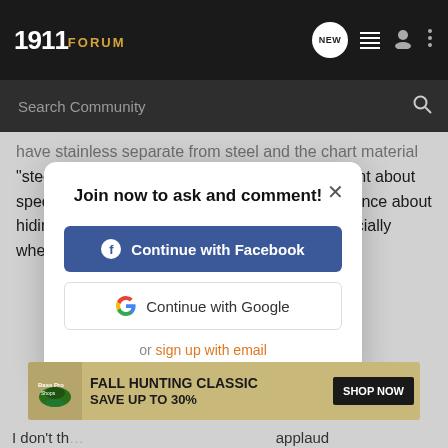1911 FORUM
have stainless separate from steel and the chart material "steel" which would imply carbon steel. Small print about specifications doesn't releive them of their ignorance about hiding a stainless frame with a matte finish especially when
[Figure (screenshot): Modal dialog on 1911Forum website with title 'Join now to ask and comment!' and two sign-in buttons: 'Continue with Facebook' and 'Continue with Google', plus 'or sign up with email' link]
[Figure (infographic): Bass Pro Shops advertisement: FALL HUNTING CLASSIC SAVE UP TO 30% with SHOP NOW button]
I don't th... ...applaud